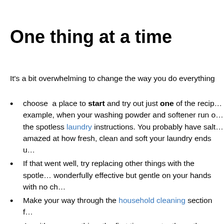One thing at a time
It's a bit overwhelming to change the way you do everything
choose a place to start and try out just one of the recipes. For example, when your washing powder and softener run out, follow the spotless laundry instructions. You probably have salt! Be amazed at how fresh, clean and soft your laundry ends up.
If that went well, try replacing other things with the spotless — wonderfully effective but gentle on your hands with no ch…
Make your way through the household cleaning section f…
As with any new thing, the first time you try these they m… instructions. But you'll soon gather confidence and find … is very simple.
Go easy on yourself, but take action. Don't panic about a… Just take each job at a time, try it, get used to it. Choose…